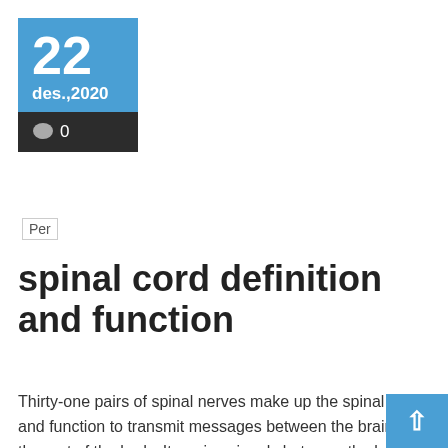[Figure (other): Calendar date widget showing '22 des.,2020' with blue top section and dark bottom section with comment bubble and '0']
Per
spinal cord definition and function
Thirty-one pairs of spinal nerves make up the spinal cord and function to transmit messages between the brain and the rest of the body. It carries signals between the brain and the rest of the body. The website does not provide medical advice, recommend or endorse health care products or services, or control the information...